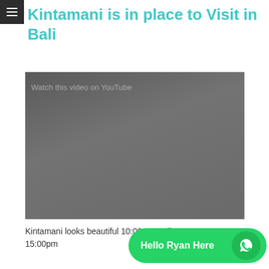☰
Kintamani is in place to Visit in Bali
[Figure (screenshot): Embedded YouTube video placeholder showing a dark grey rectangle with 'Watch this video on YouTube' text overlay]
Kintamani looks beautiful 10:00am until 15:00pm
[Figure (other): WhatsApp contact button with green background reading 'Hello Ryan Here' with WhatsApp phone icon]